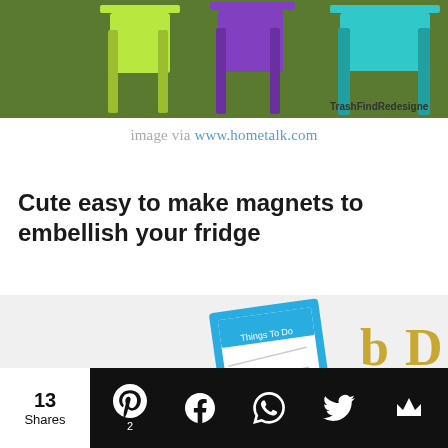[Figure (photo): Colorful folding chairs (lime green, purple, teal) on grass with watermark 'TrashFindRedesigne']
image via www.hometalk.com
Cute easy to make magnets to embellish your fridge
[Figure (photo): Gold letter magnets spelling CREATE on a white surface with a blue 'Things To Do' notepad magnet]
13 Shares | Pinterest 2 | Facebook | WhatsApp | Twitter | Crown